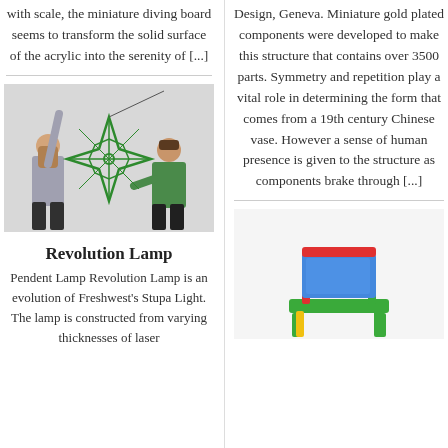with scale, the miniature diving board seems to transform the solid surface of the acrylic into the serenity of [...]
[Figure (photo): Two people holding up a green geometric star/diamond-shaped lamp structure against a white background]
Revolution Lamp
Pendent Lamp Revolution Lamp is an evolution of Freshwest's Stupa Light. The lamp is constructed from varying thicknesses of laser
Design, Geneva. Miniature gold plated components were developed to make this structure that contains over 3500 parts. Symmetry and repetition play a vital role in determining the form that comes from a 19th century Chinese vase. However a sense of human presence is given to the structure as components brake through [...]
[Figure (photo): A colorful children's chair with green seat, blue back panel, and red/yellow accents on a white background]